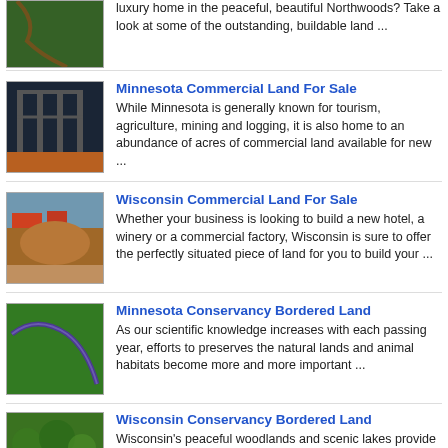[Figure (photo): Aerial view of land with winding path]
luxury home in the peaceful, beautiful Northwoods? Take a look at some of the outstanding, buildable land ...
[Figure (photo): Steel construction frame at dusk]
Minnesota Commercial Land For Sale
While Minnesota is generally known for tourism, agriculture, mining and logging, it is also home to an abundance of acres of commercial land available for new ...
[Figure (photo): Mound of dirt/gravel at construction site]
Wisconsin Commercial Land For Sale
Whether your business is looking to build a new hotel, a winery or a commercial factory, Wisconsin is sure to offer the perfectly situated piece of land for you to build your ...
[Figure (photo): Aerial view of green conservancy land]
Minnesota Conservancy Bordered Land
As our scientific knowledge increases with each passing year, efforts to preserves the natural lands and animal habitats become more and more important ...
[Figure (photo): Aerial view of Wisconsin woodlands]
Wisconsin Conservancy Bordered Land
Wisconsin's peaceful woodlands and scenic lakes provide a home to countless species of wildlife. Ensuring that the